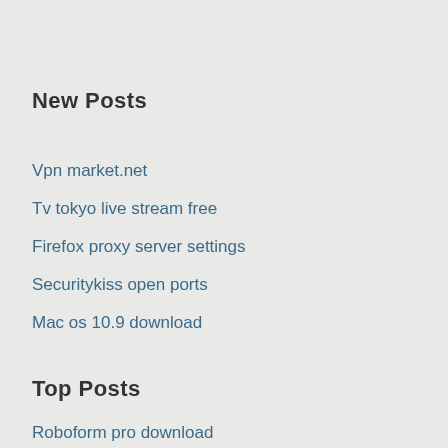New Posts
Vpn market.net
Tv tokyo live stream free
Firefox proxy server settings
Securitykiss open ports
Mac os 10.9 download
Top Posts
Roboform pro download